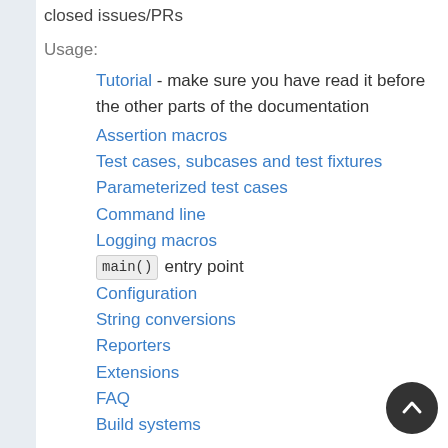closed issues/PRs
Usage:
Tutorial - make sure you have read it before the other parts of the documentation
Assertion macros
Test cases, subcases and test fixtures
Parameterized test cases
Command line
Logging macros
main() entry point
Configuration
String conversions
Reporters
Extensions
FAQ
Build systems